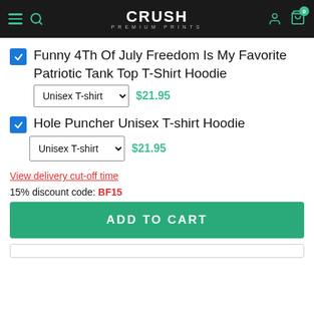[Figure (logo): Crush Premium Prints logo and navigation header with hamburger menu, search icon, user icon, and cart with badge showing 0]
Funny 4Th Of July Freedom Is My Favorite Patriotic Tank Top T-Shirt Hoodie | Unisex T-shirt | $21.95
Hole Puncher Unisex T-shirt Hoodie | Unisex T-shirt | $21.95
View delivery cut-off time
15% discount code: BF15
ADD TO CART